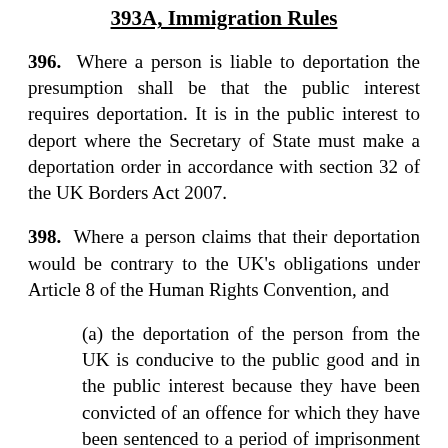393A, Immigration Rules
396. Where a person is liable to deportation the presumption shall be that the public interest requires deportation. It is in the public interest to deport where the Secretary of State must make a deportation order in accordance with section 32 of the UK Borders Act 2007.
398. Where a person claims that their deportation would be contrary to the UK's obligations under Article 8 of the Human Rights Convention, and
(a) the deportation of the person from the UK is conducive to the public good and in the public interest because they have been convicted of an offence for which they have been sentenced to a period of imprisonment of at least 4